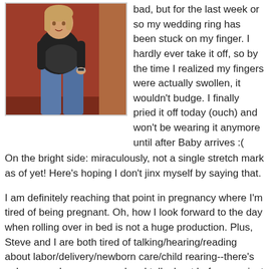[Figure (photo): A pregnant woman wearing a black top and blue jeans, standing in front of a red/brown wall background.]
bad, but for the last week or so my wedding ring has been stuck on my finger. I hardly ever take it off, so by the time I realized my fingers were actually swollen, it wouldn't budge. I finally pried it off today (ouch) and won't be wearing it anymore until after Baby arrives :(
On the bright side: miraculously, not a single stretch mark as of yet! Here's hoping I don't jinx myself by saying that.
I am definitely reaching that point in pregnancy where I'm tired of being pregnant. Oh, how I look forward to the day when rolling over in bed is not a huge production. Plus, Steve and I are both tired of talking/hearing/reading about labor/delivery/newborn care/child rearing--there's only so much you can read and talk about before you just have to DO it!
However...another part of me is definitely NOT ready for this baby to come anytime in the next few weeks--I feel like there